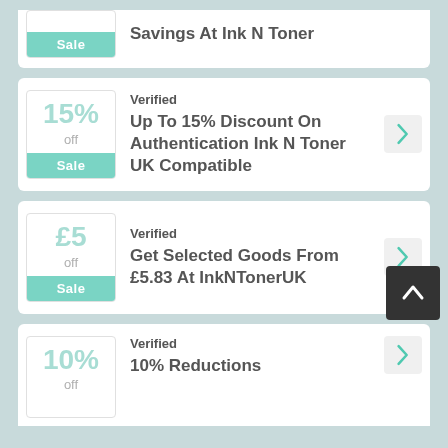Savings At Ink N Toner
Verified
Up To 15% Discount On Authentication Ink N Toner UK Compatible
Verified
Get Selected Goods From £5.83 At InkNTonerUK
Verified
10% Reductions